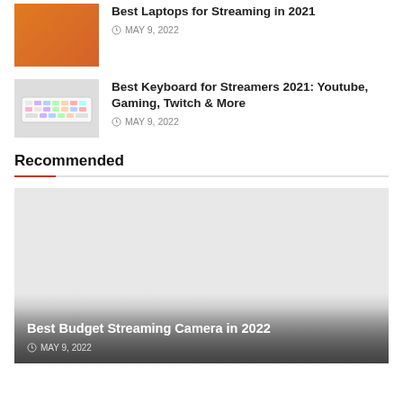[Figure (photo): Orange background with headphones and laptop accessories thumbnail]
Best Laptops for Streaming in 2021
MAY 9, 2022
[Figure (photo): RGB mechanical keyboard on white background thumbnail]
Best Keyboard for Streamers 2021: Youtube, Gaming, Twitch & More
MAY 9, 2022
Recommended
[Figure (photo): Large featured image with gradient overlay showing Best Budget Streaming Camera in 2022]
Best Budget Streaming Camera in 2022
MAY 9, 2022